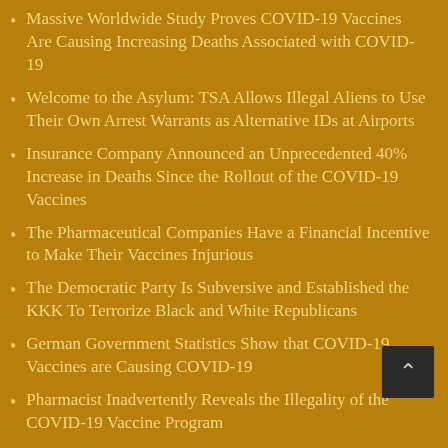Massive Worldwide Study Proves COVID-19 Vaccines Are Causing Increasing Deaths Associated with COVID-19
Welcome to the Asylum: TSA Allows Illegal Aliens to Use Their Own Arrest Warrants as Alternative IDs at Airports
Insurance Company Announced an Unprecedented 40% Increase in Deaths Since the Rollout of the COVID-19 Vaccines
The Pharmaceutical Companies Have a Financial Incentive to Make Their Vaccines Injurious
The Democratic Party Is Subversive and Established the KKK To Terrorize Black and White Republicans
German Government Statistics Show that COVID-19 Vaccines are Causing COVID-19
Pharmacist Inadvertently Reveals the Illegality of the COVID-19 Vaccine Program
How Did the CDC Know to Put 4 Vaccine Data Rows on Its COVID-19 Vaccination Card?
The CDC Falsely Counts Vaccinated COVID Deaths as Unvaccinated COVID Deaths